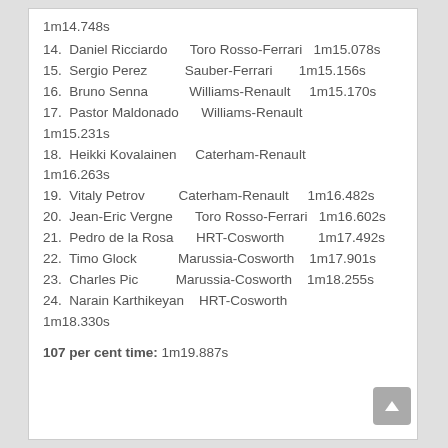1m14.748s
14.  Daniel Ricciardo      Toro Rosso-Ferrari   1m15.078s
15.  Sergio Perez           Sauber-Ferrari       1m15.156s
16.  Bruno Senna            Williams-Renault     1m15.170s
17.  Pastor Maldonado       Williams-Renault     1m15.231s
18.  Heikki Kovalainen      Caterham-Renault     1m16.263s
19.  Vitaly Petrov          Caterham-Renault     1m16.482s
20.  Jean-Eric Vergne       Toro Rosso-Ferrari   1m16.602s
21.  Pedro de la Rosa       HRT-Cosworth         1m17.492s
22.  Timo Glock             Marussia-Cosworth    1m17.901s
23.  Charles Pic            Marussia-Cosworth    1m18.255s
24.  Narain Karthikeyan     HRT-Cosworth         1m18.330s
107 per cent time: 1m19.887s